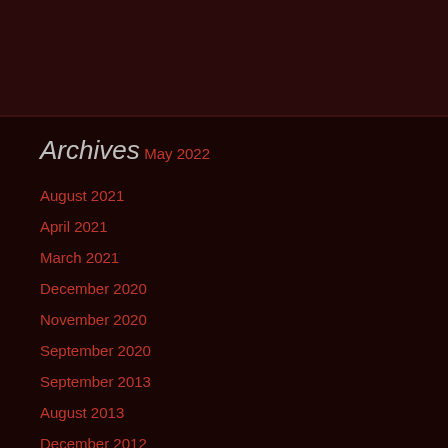Archives
May 2022
August 2021
April 2021
March 2021
December 2020
November 2020
September 2020
September 2013
August 2013
December 2012